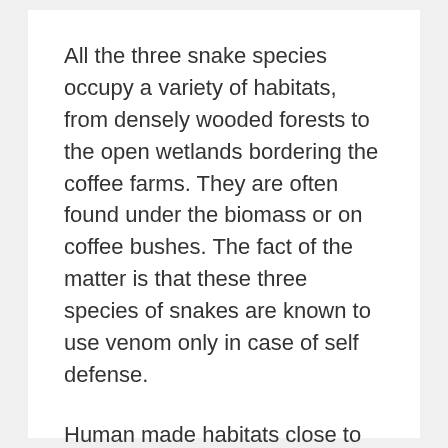All the three snake species occupy a variety of habitats, from densely wooded forests to the open wetlands bordering the coffee farms. They are often found under the biomass or on coffee bushes. The fact of the matter is that these three species of snakes are known to use venom only in case of self defense.
Human made habitats close to the place of dwelling like garden lawns, haystacks, godowns and firewood storage places attract lizards and rodents which form the stable diet of most of these snakes. Also,